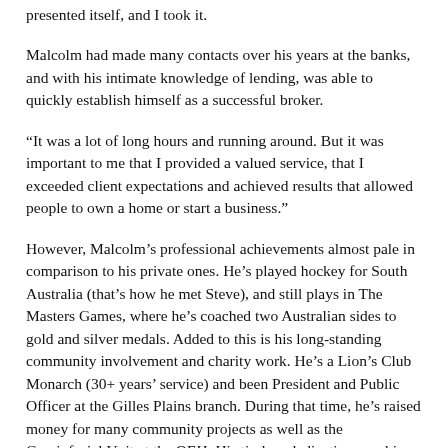presented itself, and I took it.
Malcolm had made many contacts over his years at the banks, and with his intimate knowledge of lending, was able to quickly establish himself as a successful broker.
“It was a lot of long hours and running around. But it was important to me that I provided a valued service, that I exceeded client expectations and achieved results that allowed people to own a home or start a business.”
However, Malcolm’s professional achievements almost pale in comparison to his private ones. He’s played hockey for South Australia (that’s how he met Steve), and still plays in The Masters Games, where he’s coached two Australian sides to gold and silver medals. Added to this is his long-standing community involvement and charity work. He’s a Lion’s Club Monarch (30+ years’ service) and been President and Public Officer at the Gilles Plains branch. During that time, he’s raised money for many community projects as well as the Craniofacial Unit at the QEH. His tireless dedication saw him nominated for Tea Tree Gully